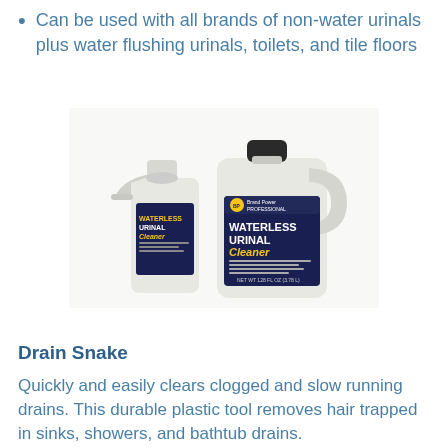Can be used with all brands of non-water urinals plus water flushing urinals, toilets, and tile floors
[Figure (photo): Two white plastic containers of Waterless Urinal Cleaner — a spray bottle on the left and a large jug/gallon container on the right, both with dark navy labels reading WATERLESS URINAL CLEANER.]
Drain Snake
Quickly and easily clears clogged and slow running drains. This durable plastic tool removes hair trapped in sinks, showers, and bathtub drains.